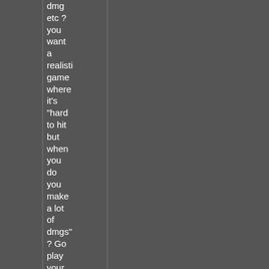dmg etc ? you want a realistic game where it's "hard to hit but when you do you make a lot of dmgs" ? Go play your fucking counterstrike crap and try to contro this